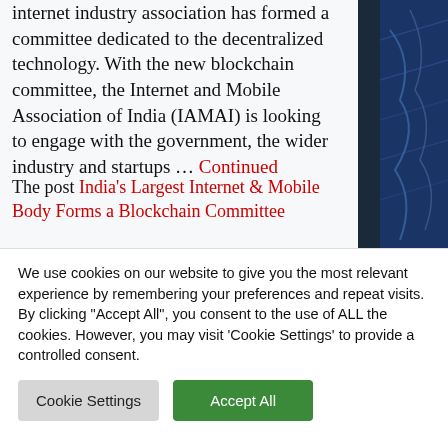internet industry association has formed a committee dedicated to the decentralized technology. With the new blockchain committee, the Internet and Mobile Association of India (IAMAI) is looking to engage with the government, the wider industry and startups … Continued
The post India's Largest Internet & Mobile Body Forms a Blockchain Committee
We use cookies on our website to give you the most relevant experience by remembering your preferences and repeat visits. By clicking "Accept All", you consent to the use of ALL the cookies. However, you may visit 'Cookie Settings' to provide a controlled consent.